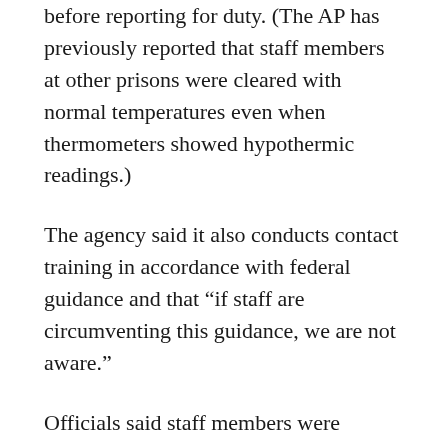before reporting for duty. (The AP has previously reported that staff members at other prisons were cleared with normal temperatures even when thermometers showed hypothermic readings.)
The agency said it also conducts contact training in accordance with federal guidance and that “if staff are circumventing this guidance, we are not aware.”
Officials said staff members were required to participate in contact tracing “if they met the criteria for it” and agency officials couldn’t compel employees to be tested.
“We cannot force staff members to take tests, nor does the CDC recommend testing of asymptomatic individuals,” an agency spokesperson said, referring to